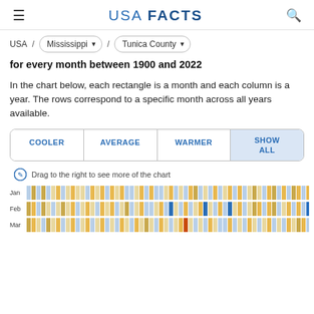USA FACTS
USA / Mississippi / Tunica County
for every month between 1900 and 2022
In the chart below, each rectangle is a month and each column is a year. The rows correspond to a specific month across all years available.
COOLER | AVERAGE | WARMER | SHOW ALL
Drag to the right to see more of the chart
[Figure (other): Heatmap showing temperature data for each month between 1900 and 2022 for Tunica County, Mississippi. Rows are Jan, Feb, Mar. Colors indicate cooler (blue), average (tan/light), and warmer (orange/gold) temperatures.]